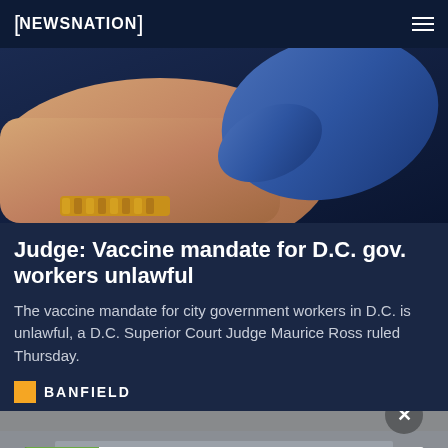NEWSNATION
[Figure (photo): Close-up photo of a person's arm being held by a blue-gloved hand, presumably for vaccination. Person wearing a gold bracelet.]
Judge: Vaccine mandate for D.C. gov. workers unlawful
The vaccine mandate for city government workers in D.C. is unlawful, a D.C. Superior Court Judge Maurice Ross ruled Thursday.
BANFIELD
[Figure (photo): Partially visible image at bottom of page, appears to be a cityscape. Overlaid with an advertisement for weed killer class action settlement.]
Purchasers of certain Roundup®, HDX®, or Ace® brand weed killer may be eligible for a cash payment from a class action settlement. Visit www.WeedKillerAdSettlement.com to learn more.